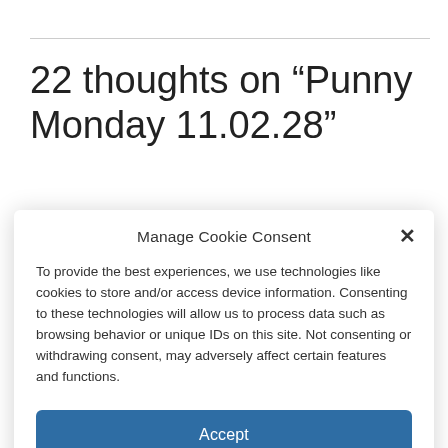22 thoughts on “Punny Monday 11.02.28”
Manage Cookie Consent
To provide the best experiences, we use technologies like cookies to store and/or access device information. Consenting to these technologies will allow us to process data such as browsing behavior or unique IDs on this site. Not consenting or withdrawing consent, may adversely affect certain features and functions.
Accept
Cookie Policy   Disclosure Policy